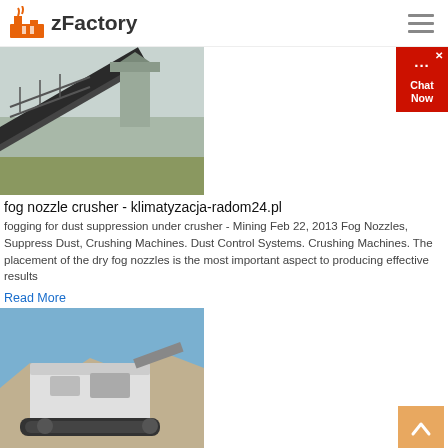zFactory
[Figure (photo): Industrial conveyor belt system at a mining/crushing facility with silos in background]
fog nozzle crusher - klimatyzacja-radom24.pl
fogging for dust suppression under crusher - Mining Feb 22, 2013 Fog Nozzles, Suppress Dust, Crushing Machines. Dust Control Systems. Crushing Machines. The placement of the dry fog nozzles is the most important aspect to producing effective results
Read More
[Figure (photo): Mobile crusher machine at a quarry site with rocky terrain and blue sky]
Dust Suppression for Crusher - H1 System, EmiControls ...